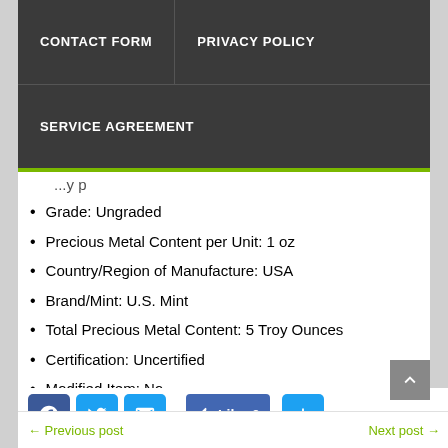CONTACT FORM  PRIVACY POLICY  SERVICE AGREEMENT
Grade: Ungraded
Precious Metal Content per Unit: 1 oz
Country/Region of Manufacture: USA
Brand/Mint: U.S. Mint
Total Precious Metal Content: 5 Troy Ounces
Certification: Uncertified
Modified Item: No
View on eBay
← Previous post    Next post →